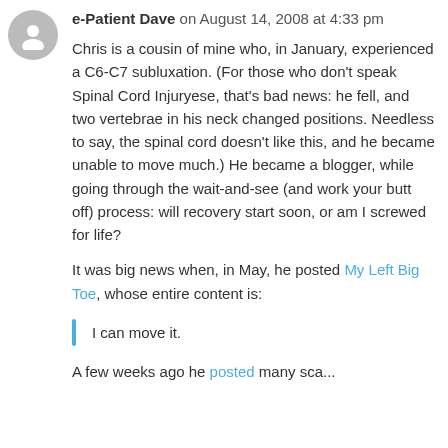e-Patient Dave on August 14, 2008 at 4:33 pm
Chris is a cousin of mine who, in January, experienced a C6-C7 subluxation. (For those who don't speak Spinal Cord Injuryese, that's bad news: he fell, and two vertebrae in his neck changed positions. Needless to say, the spinal cord doesn't like this, and he became unable to move much.) He became a blogger, while going through the wait-and-see (and work your butt off) process: will recovery start soon, or am I screwed for life?
It was big news when, in May, he posted My Left Big Toe, whose entire content is:
I can move it.
A few weeks ago he posted many sca...